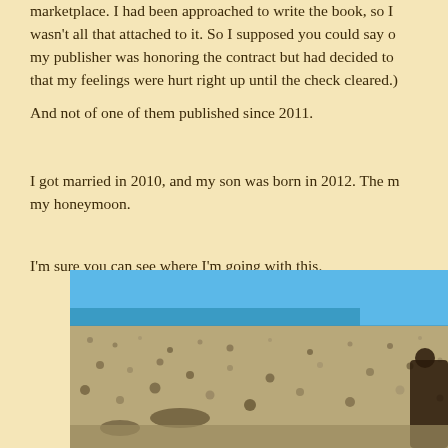marketplace. I had been approached to write the book, so I wasn't all that attached to it. So I supposed you could say o my publisher was honoring the contract but had decided to that my feelings were hurt right up until the check cleared.)
And not of one of them published since 2011.
I got married in 2010, and my son was born in 2012. The m my honeymoon.
I'm sure you can see where I'm going with this.
[Figure (photo): A person on a pebble beach with blue water and sky in the background]